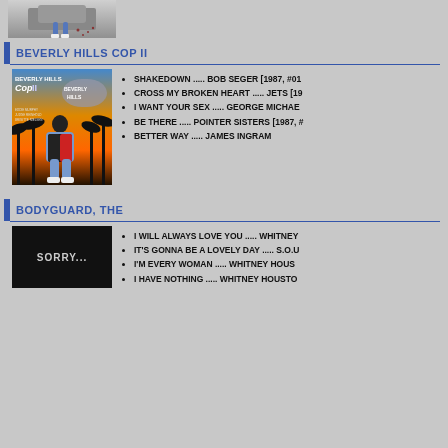[Figure (photo): Top portion of a movie poster showing a person sitting on a car, partially visible]
BEVERLY HILLS COP II
[Figure (photo): Beverly Hills Cop II movie poster showing man in varsity jacket against palm tree sunset backdrop]
SHAKEDOWN ..... BOB SEGER [1987, #01
CROSS MY BROKEN HEART ..... JETS [19
I WANT YOUR SEX ..... GEORGE MICHAEL
BE THERE ..... POINTER SISTERS [1987, #
BETTER WAY ..... JAMES INGRAM
BODYGUARD, THE
[Figure (photo): Bodyguard movie image showing dark background with SORRY... text]
I WILL ALWAYS LOVE YOU ..... WHITNEY
IT'S GONNA BE A LOVELY DAY ..... S.O.U
I'M EVERY WOMAN ..... WHITNEY HOUS
I HAVE NOTHING ..... WHITNEY HOUSTO